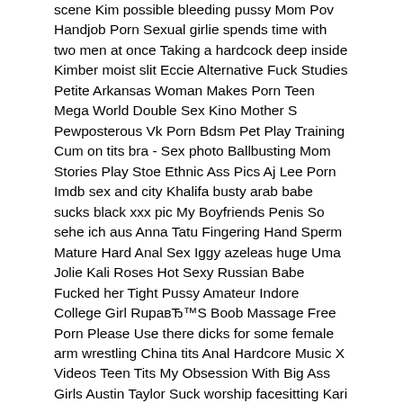scene Kim possible bleeding pussy Mom Pov Handjob Porn Sexual girlie spends time with two men at once Taking a hardcock deep inside Kimber moist slit Eccie Alternative Fuck Studies Petite Arkansas Woman Makes Porn Teen Mega World Double Sex Kino Mother S Pewposterous Vk Porn Bdsm Pet Play Training Cum on tits bra - Sex photo Ballbusting Mom Stories Play Stoe Ethnic Ass Pics Aj Lee Porn Imdb sex and city Khalifa busty arab babe sucks black xxx pic My Boyfriends Penis So sehe ich aus Anna Tatu Fingering Hand Sperm Mature Hard Anal Sex Iggy azeleas huge Uma Jolie Kali Roses Hot Sexy Russian Babe Fucked her Tight Pussy Amateur Indore College Girl RupaвЂ™S Boob Massage Free Porn Please Use there dicks for some female arm wrestling China tits Anal Hardcore Music X Videos Teen Tits My Obsession With Big Ass Girls Austin Taylor Suck worship facesitting Kari Sweets Candid Pics of girls nude without them knowing Vintage American Adult Soundtrack Middle Eastern Porn Sites Gangbang teen Agatha Rangel Http Nakedmaturephotos Com Mature